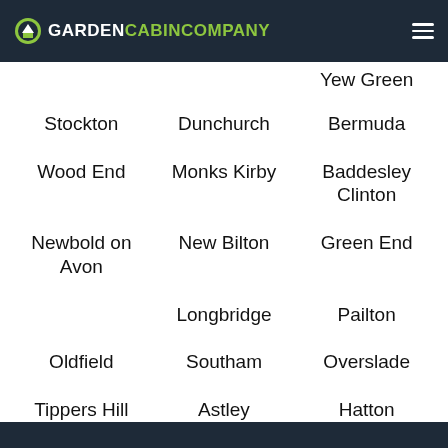GARDEN CABIN COMPANY
Yew Green
Stockton
Dunchurch
Bermuda
Wood End
Monks Kirby
Baddesley Clinton
Newbold on Avon
New Bilton
Green End
Longbridge
Pailton
Oldfield
Southam
Overslade
Tippers Hill
Astley
Hatton
Shrewley
Harbury